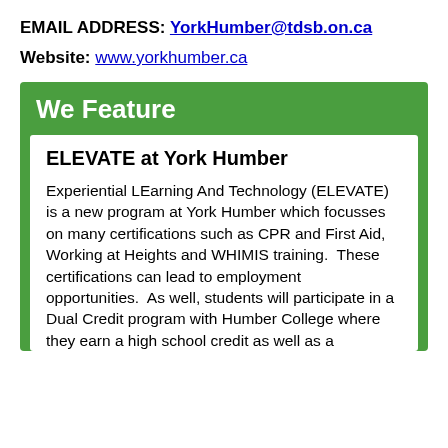EMAIL ADDRESS: YorkHumber@tdsb.on.ca
Website: www.yorkhumber.ca
We Feature
ELEVATE at York Humber
Experiential LEarning And Technology (ELEVATE) is a new program at York Humber which focusses on many certifications such as CPR and First Aid, Working at Heights and WHIMIS training.  These certifications can lead to employment opportunities.  As well, students will participate in a Dual Credit program with Humber College where they earn a high school credit as well as a